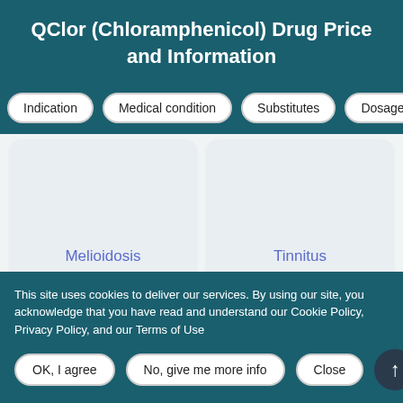QClor (Chloramphenicol) Drug Price and Information
Indication
Medical condition
Substitutes
Dosage
Melioidosis
Tinnitus
This site uses cookies to deliver our services. By using our site, you acknowledge that you have read and understand our Cookie Policy, Privacy Policy, and our Terms of Use
OK, I agree
No, give me more info
Close